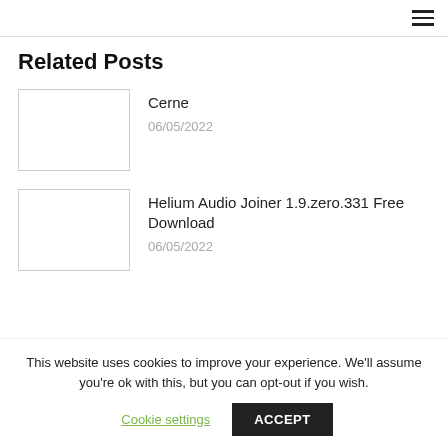Related Posts
Cerne — 06/05/2022
Helium Audio Joiner 1.9.zero.331 Free Download — 06/05/2022
This website uses cookies to improve your experience. We'll assume you're ok with this, but you can opt-out if you wish.
Cookie settings | ACCEPT